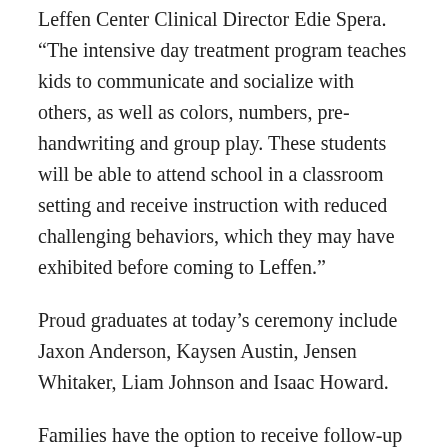Leffen Center Clinical Director Edie Spera. “The intensive day treatment program teaches kids to communicate and socialize with others, as well as colors, numbers, pre-handwriting and group play. These students will be able to attend school in a classroom setting and receive instruction with reduced challenging behaviors, which they may have exhibited before coming to Leffen.”
Proud graduates at today’s ceremony include Jaxon Anderson, Kaysen Austin, Jensen Whitaker, Liam Johnson and Isaac Howard.
Families have the option to receive follow-up consultations once the preschool students leave the program to ensure the transition to schools remains smooth.